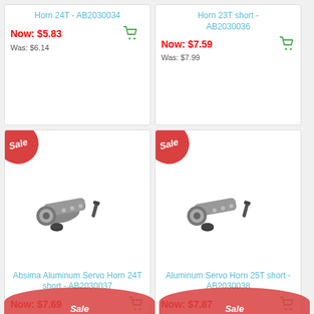Horn 24T - AB2030034
Now: $5.83
Was: $6.14
Horn 23T short - AB2030036
Now: $7.59
Was: $7.99
Absima Aluminum Servo Horn 24T short - AB2030037
Now: $7.69
Was: $8.10
Aluminum Servo Horn 25T short - AB2030038
Now: $7.87
Was: $8.28